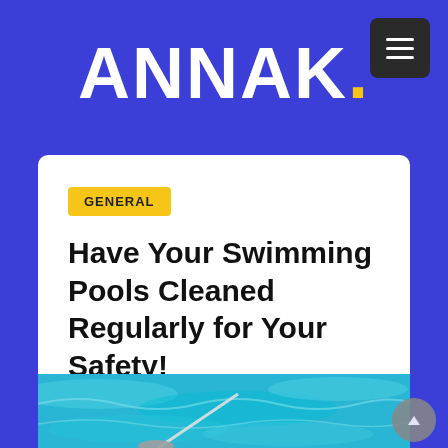ANNAK.
GENERAL
Have Your Swimming Pools Cleaned Regularly for Your Safety!
admin...
[Figure (photo): Swimming pool being cleaned with a pool vacuum/net tool, seen from above with blue water and teal tones.]